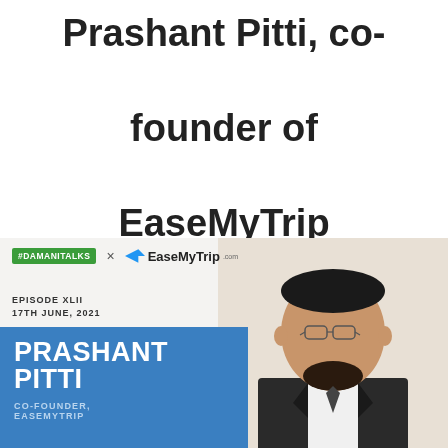Prashant Pitti, co-founder of EaseMyTrip
[Figure (infographic): Promotional card for #DamaniTalks x EaseMyTrip, Episode XLII, 17th June 2021, featuring Prashant Pitti, Co-Founder of EaseMyTrip, with a photo of the person and geometric diamond design.]